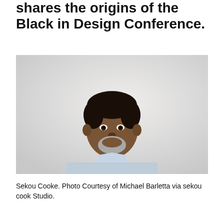shares the origins of the Black in Design Conference.
[Figure (photo): Portrait photograph of Sekou Cooke, a man in a light blue patterned button-up shirt against a light gray-white background, looking at the camera with a composed expression.]
Sekou Cooke. Photo Courtesy of Michael Barletta via sekou cook Studio.